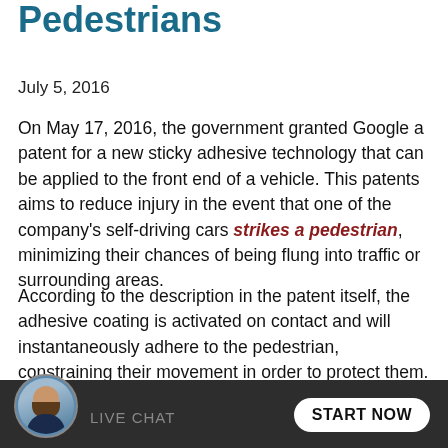Pedestrians
July 5, 2016
On May 17, 2016, the government granted Google a patent for a new sticky adhesive technology that can be applied to the front end of a vehicle. This patents aims to reduce injury in the event that one of the company's self-driving cars strikes a pedestrian, minimizing their chances of being flung into traffic or surrounding areas.
According to the description in the patent itself, the adhesive coating is activated on contact and will instantaneously adhere to the pedestrian, constraining their movement in order to protect them. In theory, the material will adhere to the pedestrian, carrying them on the front end of the vehicle until the driver, or the car itself in case
[Figure (other): Live chat widget at bottom of page with avatar photo of bearded man in suit, text LIVE CHAT and START NOW button]